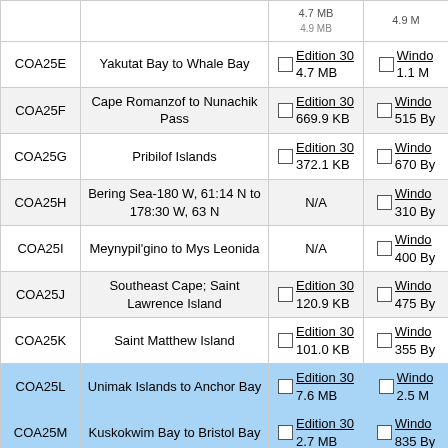| Code | Name | Edition/Size (Mac) | Windows/Size |
| --- | --- | --- | --- |
| COA25E | Yakutat Bay to Whale Bay | Edition 30 / 4.7 MB | Windo... / 1.1 M |
| COA25F | Cape Romanzof to Nunachik Pass | Edition 30 / 669.9 KB | Windo... / 515 By |
| COA25G | Pribilof Islands | Edition 30 / 372.1 KB | Windo... / 670 By |
| COA25H | Bering Sea-180 W, 61:14 N to 178:30 W, 63 N | N/A | Windo... / 310 By |
| COA25I | Meynypil'gino to Mys Leonida | N/A | Windo... / 400 By |
| COA25J | Southeast Cape; Saint Lawrence Island | Edition 30 / 120.9 KB | Windo... / 475 By |
| COA25K | Saint Matthew Island | Edition 30 / 101.0 KB | Windo... / 355 By |
| COA25L | Unimak Islands to Anchor Bay | Edition 30 / 7.6 MB | Windo... / 2.5 M |
| COA25M | Kuskokwim Bay to Bristol Bay | Edition 30 / 2.7 MB | Windo... / 835 By |
| GEN25A | Rat Islands; Cape Navarin, Russia | N/A | Windo... / 135.4 K |
| GEN25B | Bering Sea; Gulf of Alaska; Aleutian Islands | Edition 30 / 6.0 MB | Windo... / 700.1 K |
| H2519410 | Sitka, Baranof Island, Alaska | Edition 30 / 4.8 MB | Windo... / 1.4 K |